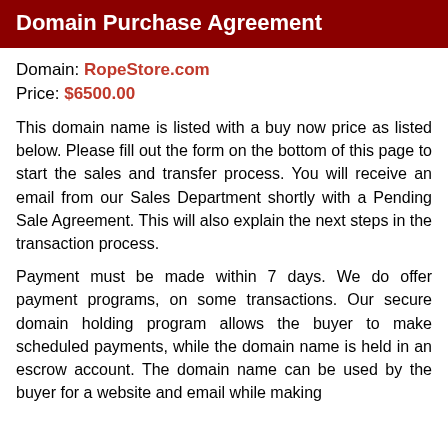Domain Purchase Agreement
Domain: RopeStore.com
Price: $6500.00
This domain name is listed with a buy now price as listed below. Please fill out the form on the bottom of this page to start the sales and transfer process. You will receive an email from our Sales Department shortly with a Pending Sale Agreement. This will also explain the next steps in the transaction process.
Payment must be made within 7 days. We do offer payment programs, on some transactions. Our secure domain holding program allows the buyer to make scheduled payments, while the domain name is held in an escrow account. The domain name can be used by the buyer for a website and email while making